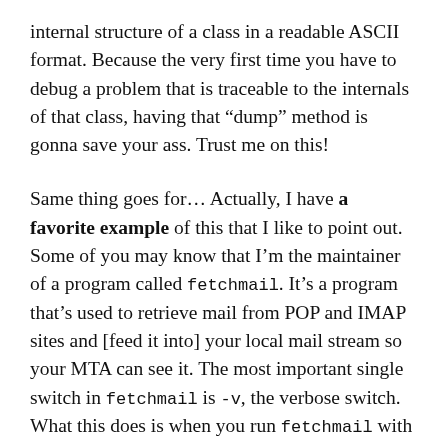internal structure of a class in a readable ASCII format. Because the very first time you have to debug a problem that is traceable to the internals of that class, having that “dump” method is gonna save your ass. Trust me on this!
Same thing goes for… Actually, I have a favorite example of this that I like to point out. Some of you may know that I’m the maintainer of a program called fetchmail. It’s a program that’s used to retrieve mail from POP and IMAP sites and [feed it into] your local mail stream so your MTA can see it. The most important single switch in fetchmail is -v, the verbose switch. What this does is when you run fetchmail with the verbose switch, as it does POP I... [continues]